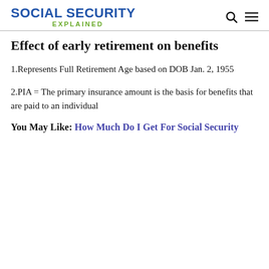SOCIAL SECURITY EXPLAINED
Effect of early retirement on benefits
1.Represents Full Retirement Age based on DOB Jan. 2, 1955
2.PIA = The primary insurance amount is the basis for benefits that are paid to an individual
You May Like: How Much Do I Get For Social Security